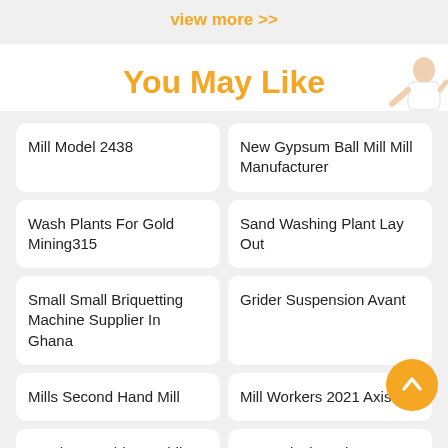view more >>
You May Like
Mill Model 2438
New Gypsum Ball Mill Mill Manufacturer
Wash Plants For Gold Mining315
Sand Washing Plant Lay Out
Small Small Briquetting Machine Supplier In Ghana
Grider Suspension Avant
Mills Second Hand Mill
Mill Workers 2021 Axis
Crusher Machine Mobile
Use Unlock Codes For